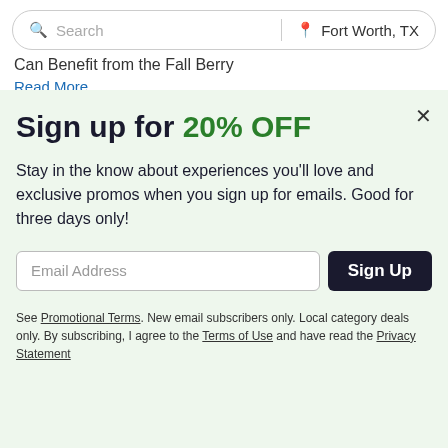Search | Fort Worth, TX
Can Benefit from the Fall Berry
Read More
Sign up for 20% OFF
Stay in the know about experiences you'll love and exclusive promos when you sign up for emails. Good for three days only!
Email Address  Sign Up
See Promotional Terms. New email subscribers only. Local category deals only. By subscribing, I agree to the Terms of Use and have read the Privacy Statement